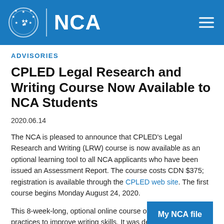NCA
ADVISORIES
CPLED Legal Research and Writing Course Now Available to NCA Students
2020.06.14
The NCA is pleased to announce that CPLED's Legal Research and Writing (LRW) course is now available as an optional learning tool to all NCA applicants who have been issued an Assessment Report. The course costs CDN $375; registration is available through the CPLED web site. The first course begins Monday August 24, 2020.
This 8-week-long, optional online course offers u… best practices to improve writing skills. It was designed to help